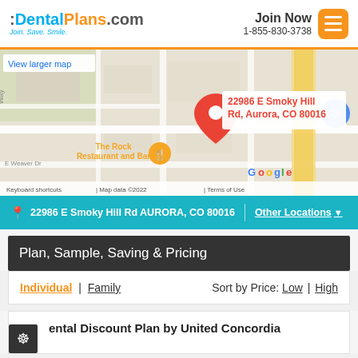:DentalPlans.com Join. Save. Smile. Join Now 1-855-830-3738
[Figure (map): Google Maps screenshot showing location pin at 22986 E Smoky Hill Rd, Aurora, CO 80016 with The Rock Restaurant and Bar nearby. Map shows street layout with 'View larger map' link, keyboard shortcuts, and Google branding.]
22986 E Smoky Hill Rd AURORA, CO 80016 | Other Locations
Plan, Sample, Saving & Pricing
Individual | Family     Sort by Price: Low | High
Dental Discount Plan by United Concordia